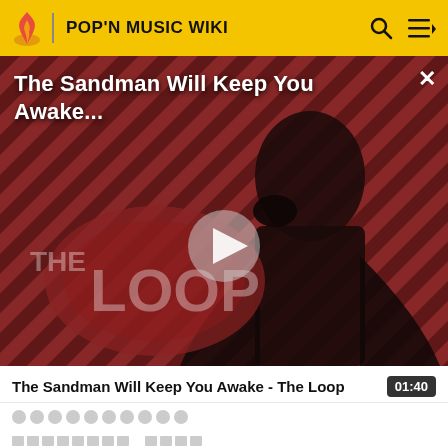POP'N MUSIC WIKI
[Figure (screenshot): Video thumbnail for 'The Sandman Will Keep You Awake - The Loop' showing a dark-cloaked figure against a red diagonal-striped background with 'THE LOOP' logo, and a play button overlay]
The Sandman Will Keep You Awake...
The Sandman Will Keep You Awake - The Loop
01:40
□□□□□□□□□□
□□□□□□□□  □□□□
□□□□□□□□  □□□□□□□□